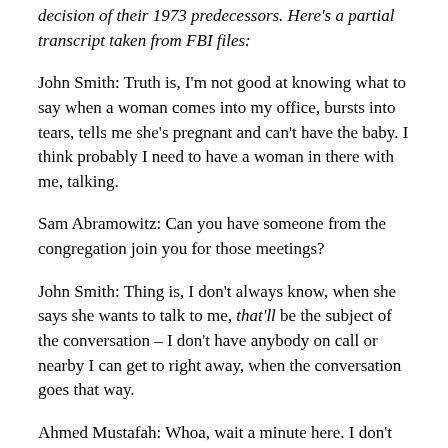decision of their 1973 predecessors. Here's a partial transcript taken from FBI files:
John Smith: Truth is, I'm not good at knowing what to say when a woman comes into my office, bursts into tears, tells me she's pregnant and can't have the baby. I think probably I need to have a woman in there with me, talking.
Sam Abramowitz: Can you have someone from the congregation join you for those meetings?
John Smith: Thing is, I don't always know, when she says she wants to talk to me, that'll be the subject of the conversation – I don't have anybody on call or nearby I can get to right away, when the conversation goes that way.
Ahmed Mustafah: Whoa, wait a minute here. I don't think it's a good idea to bring members of your